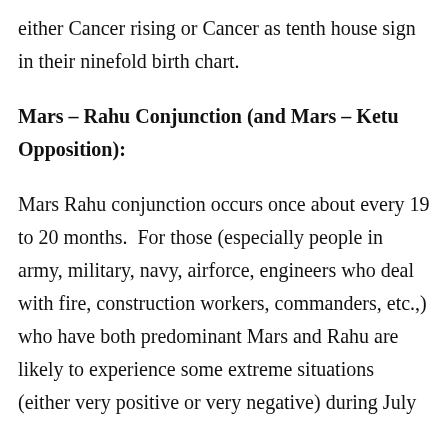either Cancer rising or Cancer as tenth house sign in their ninefold birth chart.
Mars – Rahu Conjunction (and Mars – Ketu Opposition):
Mars Rahu conjunction occurs once about every 19 to 20 months.  For those (especially people in army, military, navy, airforce, engineers who deal with fire, construction workers, commanders, etc.,) who have both predominant Mars and Rahu are likely to experience some extreme situations (either very positive or very negative) during July